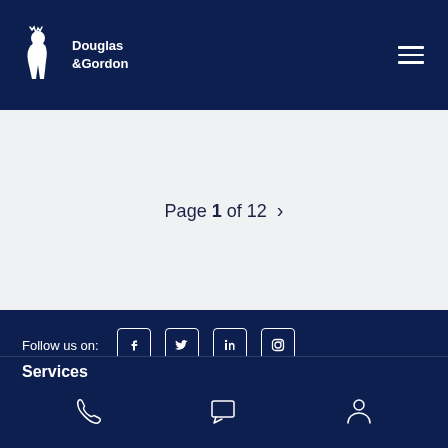Douglas & Gordon
Page 1 of 12
Follow us on:
Log in   Create account
Services